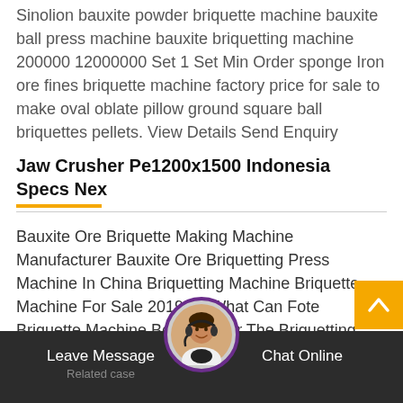Sinolion bauxite powder briquette machine bauxite ball press machine bauxite briquetting machine 200000 12000000 Set 1 Set Min Order sponge Iron ore fines briquette machine factory price for sale to make oval oblate pillow ground square ball briquettes pellets. View Details Send Enquiry
Jaw Crusher Pe1200x1500 Indonesia Specs Nex
Bauxite Ore Briquette Making Machine Manufacturer Bauxite Ore Briquetting Press Machine In China Briquetting Machine Briquette Machine For Sale 2019522What Can Fote Briquette Machine Be Used For The Briquetting Machine Or Briquettes Machine Is Widely Used To Press All Kinds Of. Briquette Machine Plant Machinery Briquette Zhongzho
Leave Message   Chat Online   Related case